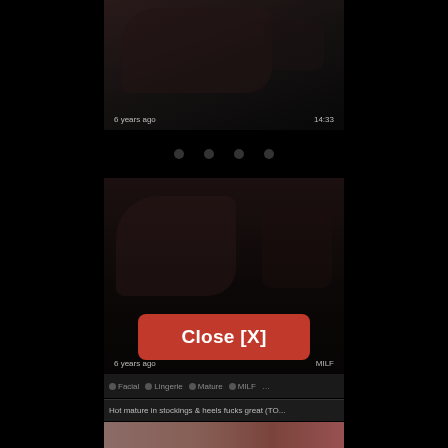[Figure (screenshot): Dark video thumbnail, top card, showing partially visible content]
6 years ago
14:33
[Figure (screenshot): Dark video thumbnail, middle card, showing partially visible content]
6 years ago
MILF
Close [X]
Facial  Lingerie  Mature  MILF  ...
Hot mature in stockings & heels fucks great (TO...
[Figure (screenshot): Bottom video thumbnail, partially visible, skin tones visible]